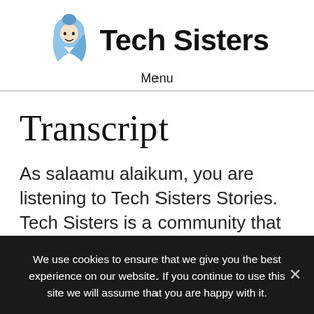[Figure (logo): Tech Sisters logo: blue illustrated figure of a woman wearing hijab, next to bold text 'Tech Sisters']
Menu
Transcript
As salaamu alaikum, you are listening to Tech Sisters Stories. Tech Sisters is a community that supports Muslim women in tech through
We use cookies to ensure that we give you the best experience on our website. If you continue to use this site we will assume that you are happy with it.